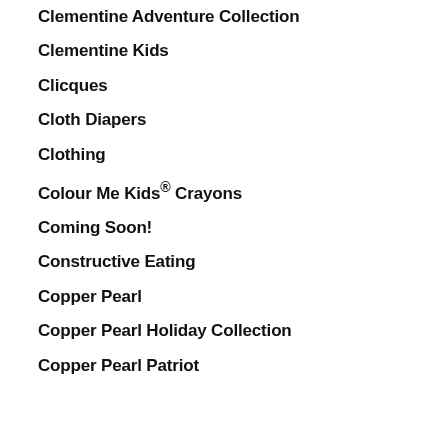Clementine Adventure Collection
Clementine Kids
Clicques
Cloth Diapers
Clothing
Colour Me Kids® Crayons
Coming Soon!
Constructive Eating
Copper Pearl
Copper Pearl Holiday Collection
Copper Pearl Patriot